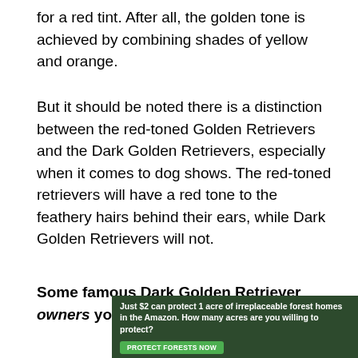for a red tint. After all, the golden tone is achieved by combining shades of yellow and orange.
But it should be noted there is a distinction between the red-toned Golden Retrievers and the Dark Golden Retrievers, especially when it comes to dog shows. The red-toned retrievers will have a red tone to the feathery hairs behind their ears, while Dark Golden Retrievers will not.
Some famous Dark Golden Retriever owners you may know are:
[Figure (infographic): Advertisement banner: forest background image with text 'Just $2 can protect 1 acre of irreplaceable forest homes in the Amazon. How many acres are you willing to protect?' and a green 'PROTECT FORESTS NOW' button.]